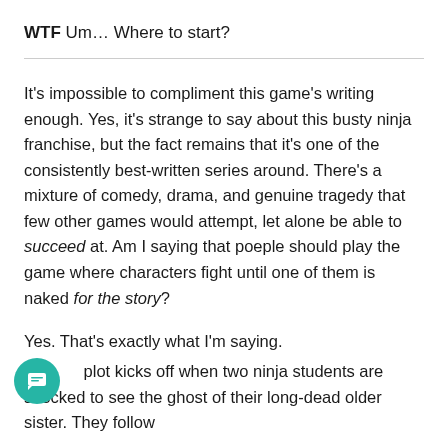WTF Um… Where to start?
It's impossible to compliment this game's writing enough. Yes, it's strange to say about this busty ninja franchise, but the fact remains that it's one of the consistently best-written series around. There's a mixture of comedy, drama, and genuine tragedy that few other games would attempt, let alone be able to succeed at. Am I saying that poeple should play the game where characters fight until one of them is naked for the story?
Yes. That's exactly what I'm saying.
plot kicks off when two ninja students are shocked to see the ghost of their long-dead older sister. They follow